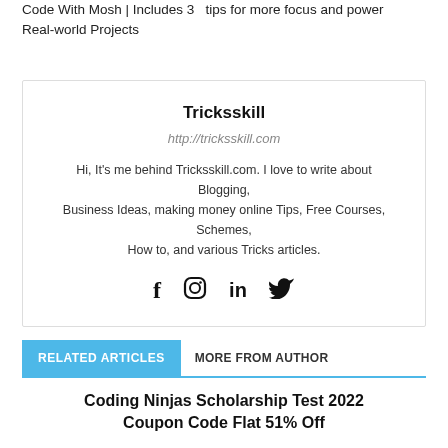Code With Mosh | Includes 3 Real-world Projects   tips for more focus and power
Tricksskill
http://tricksskill.com
Hi, It's me behind Tricksskill.com. I love to write about Blogging, Business Ideas, making money online Tips, Free Courses, Schemes, How to, and various Tricks articles.
RELATED ARTICLES   MORE FROM AUTHOR
Coding Ninjas Scholarship Test 2022 Coupon Code Flat 51% Off